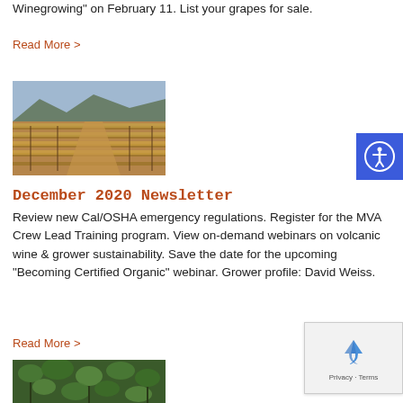Winegrowing" on February 11. List your grapes for sale.
Read More >
[Figure (photo): Aerial view of a vineyard with rows of grapevines, mountains in the background, autumn colors, dirt paths between rows.]
December 2020 Newsletter
Review new Cal/OSHA emergency regulations. Register for the MVA Crew Lead Training program. View on-demand webinars on volcanic wine & grower sustainability. Save the date for the upcoming "Becoming Certified Organic" webinar. Grower profile: David Weiss.
Read More >
[Figure (photo): Close-up view of a vineyard with dense green grapevines growing on trellises, partial view.]